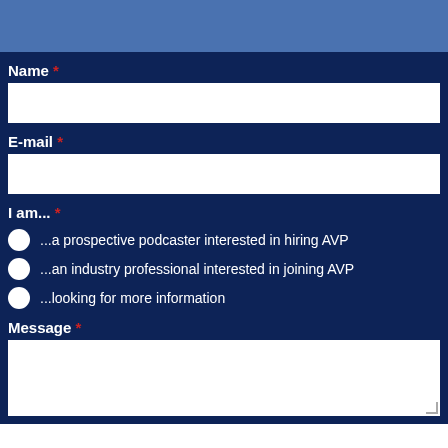[Figure (other): Blue banner/header strip at top of page]
Name *
E-mail *
I am... *
...a prospective podcaster interested in hiring AVP
...an industry professional interested in joining AVP
...looking for more information
Message *